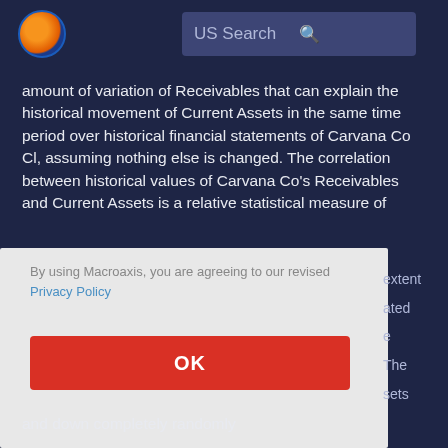US Search
amount of variation of Receivables that can explain the historical movement of Current Assets in the same time period over historical financial statements of Carvana Co Cl, assuming nothing else is changed. The correlation between historical values of Carvana Co's Receivables and Current Assets is a relative statistical measure of
By using Macroaxis, you are agreeing to our revised Privacy Policy
OK
and down completely randomly